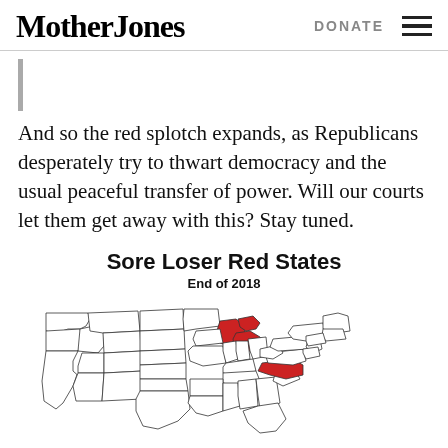Mother Jones | DONATE
And so the red splotch expands, as Republicans desperately try to thwart democracy and the usual peaceful transfer of power. Will our courts let them get away with this? Stay tuned.
[Figure (map): US map titled 'Sore Loser Red States - End of 2018' showing Wisconsin, Michigan, and North Carolina highlighted in red.]
Sore Loser Red States
End of 2018